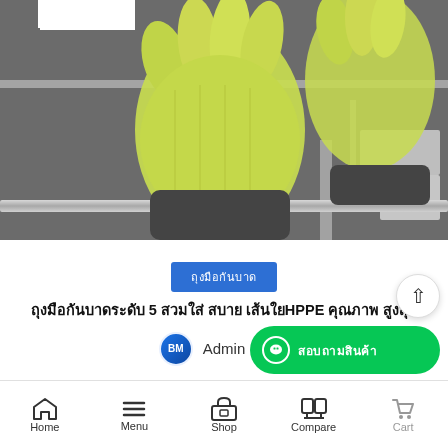[Figure (photo): Industrial photo showing yellow/green protective gloves on metallic surface, mostly grayscale with yellow gloves in color]
ถุงมือกันบาดระดับ 5 สวมใส่ สบาย เส้นใยHPPE คุณภาพ สูงสุด
ถุงมือกันบาด
Admin  0
Home  Menu  Shop  Compare  Cart